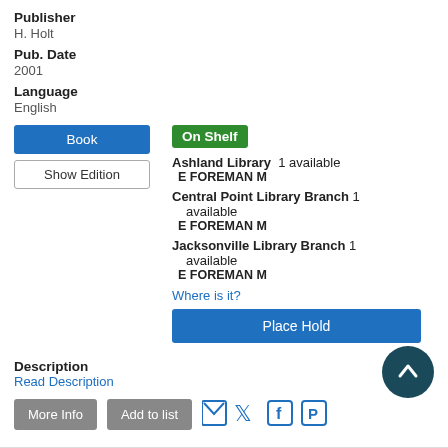Publisher
H. Holt
Pub. Date
2001
Language
English
Book
Show Edition
On Shelf
Ashland Library  1 available
E FOREMAN M
Central Point Library Branch  1 available
E FOREMAN M
Jacksonville Library Branch  1 available
E FOREMAN M
Where is it?
Place Hold
Description
Read Description
More Info
Add to list